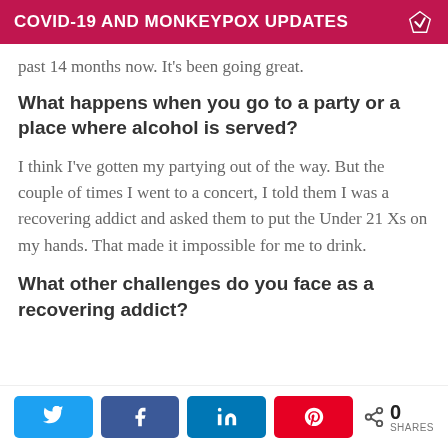COVID-19 AND MONKEYPOX UPDATES
past 14 months now. It's been going great.
What happens when you go to a party or a place where alcohol is served?
I think I've gotten my partying out of the way. But the couple of times I went to a concert, I told them I was a recovering addict and asked them to put the Under 21 Xs on my hands. That made it impossible for me to drink.
What other challenges do you face as a recovering addict?